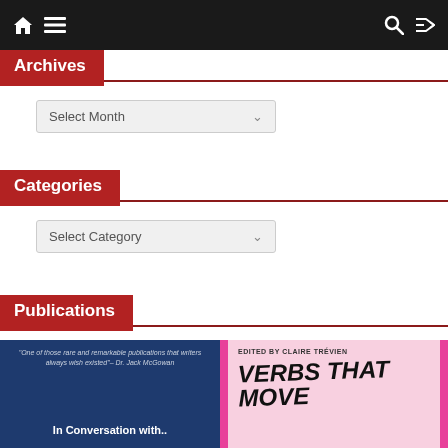Navigation bar with home, menu, search, and shuffle icons
Archives
Select Month
Categories
Select Category
Publications
[Figure (photo): Two book covers side by side. Left: dark navy cover with italic quote text 'One of those rare and remarkable publications that writers always wish existed' - Dr. Jack McGowan, and title 'In Conversation with..'. Right: pink/white cover edited by Claire Trévien with title 'VERBS THAT MOVE' in large bold handwritten-style font, with magenta vertical stripes on sides.]